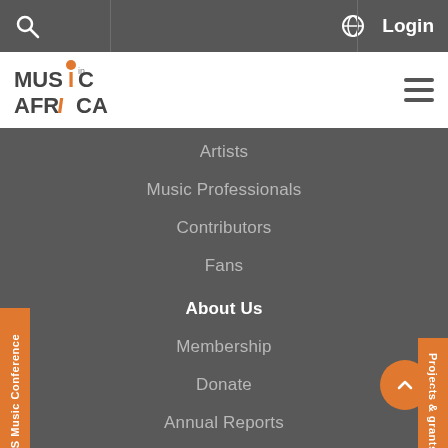Music In Africa website navigation header with search, globe, and Login
[Figure (logo): Music In Africa logo with stylized orange 'i' letterform]
Artists
Music Professionals
Contributors
Fans
About Us
Membership
Donate
Annual Reports
COVID-19 PROTOCOLS
FAQ